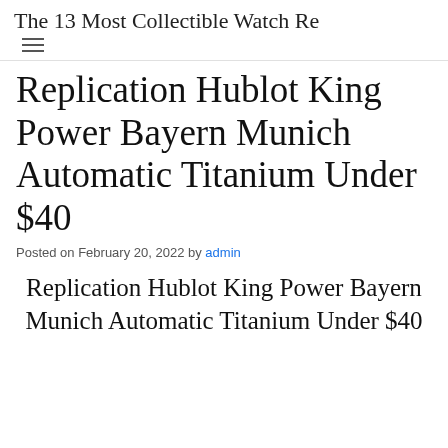The 13 Most Collectible Watch Re
Replication Hublot King Power Bayern Munich Automatic Titanium Under $40
Posted on February 20, 2022 by admin
Replication Hublot King Power Bayern Munich Automatic Titanium Under $40